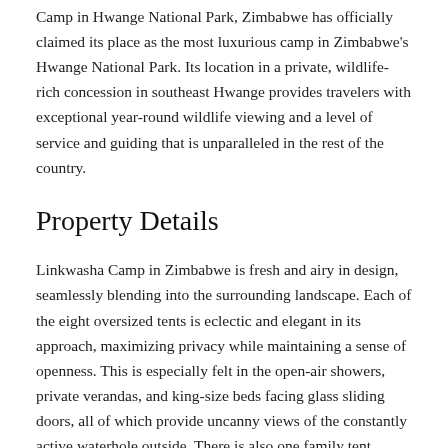Camp in Hwange National Park, Zimbabwe has officially claimed its place as the most luxurious camp in Zimbabwe's Hwange National Park. Its location in a private, wildlife-rich concession in southeast Hwange provides travelers with exceptional year-round wildlife viewing and a level of service and guiding that is unparalleled in the rest of the country.
Property Details
Linkwasha Camp in Zimbabwe is fresh and airy in design, seamlessly blending into the surrounding landscape. Each of the eight oversized tents is eclectic and elegant in its approach, maximizing privacy while maintaining a sense of openness. This is especially felt in the open-air showers, private verandas, and king-size beds facing glass sliding doors, all of which provide uncanny views of the constantly active waterhole outside. There is also one family tent, similar to the rest but with the added